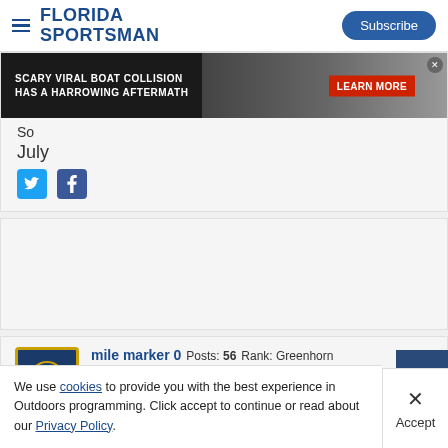Florida Sportsman — Subscribe
[Figure (screenshot): Advertisement banner: SCARY VIRAL BOAT COLLISION HAS A HARROWING AFTERMATH — LEARN MORE]
So
July
[Figure (other): Social media sharing icons: Twitter and Facebook]
[Figure (other): Advertisement placeholder block (empty/blank)]
mile marker 0  Posts: 56   Rank: Greenhorn
June 2018   #22
We use cookies to provide you with the best experience in Outdoors programming. Click accept to continue or read about our Privacy Policy.